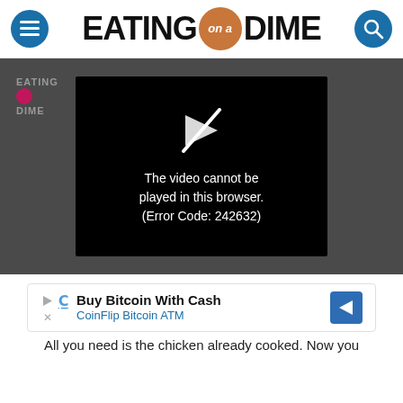[Figure (logo): Eating on a Dime website logo with hamburger menu icon and search icon]
[Figure (screenshot): Video player showing error message: The video cannot be played in this browser. (Error Code: 242632)]
[Figure (screenshot): Advertisement banner: Buy Bitcoin With Cash - CoinFlip Bitcoin ATM]
All you need is the chicken already cooked. Now you